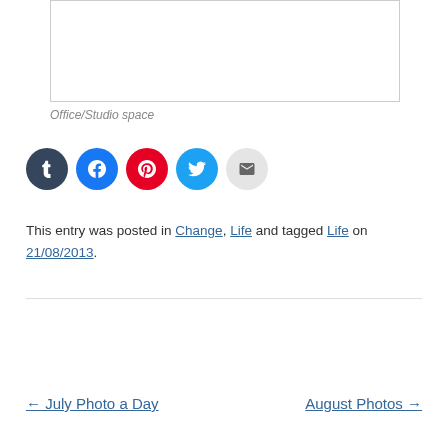[Figure (photo): Office/Studio space photo placeholder box]
Office/Studio space
[Figure (infographic): Social sharing icons: Tumblr, Facebook, Pinterest, Twitter, Email]
This entry was posted in Change, Life and tagged Life on 21/08/2013.
← July Photo a Day   August Photos →